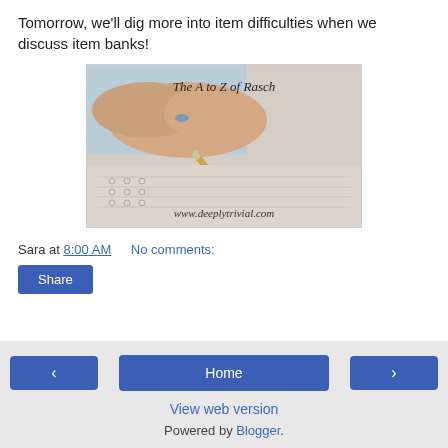Tomorrow, we'll dig more into item difficulties when we discuss item banks!
[Figure (photo): A hand holding a pencil writing on a multiple-choice exam sheet. Text overlay reads 'The A to Z of Rasch' and 'www.deeplytrivial.com']
Sara at 8:00 AM   No comments:
Share
Home   View web version   Powered by Blogger.